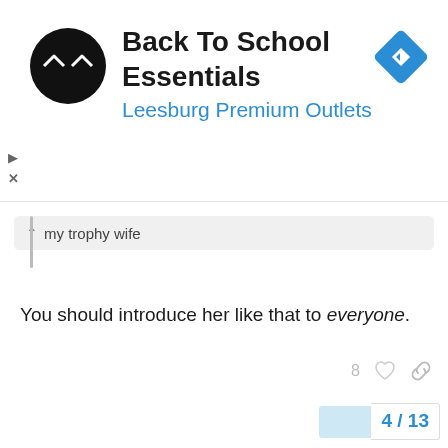[Figure (screenshot): Advertisement banner for Back To School Essentials at Leesburg Premium Outlets, featuring a circular dark logo with arrow symbols, blue text subtitle, and a blue diamond navigation icon on the right.]
my trophy wife
You should introduce her like that to everyone.
4 / 13